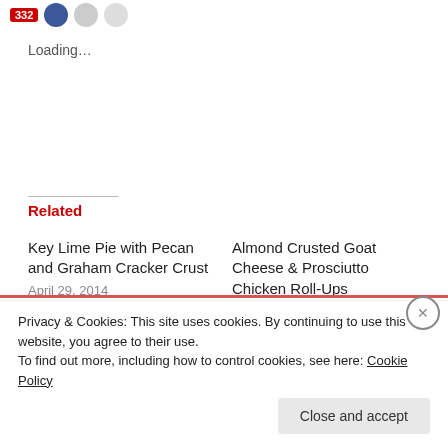[Figure (screenshot): Social share buttons: red badge with 332, blue circle icon, gray circle icon, light gray circle icon]
Loading...
Related
Key Lime Pie with Pecan and Graham Cracker Crust
April 29, 2014
In "Recipes"
Almond Crusted Goat Cheese & Prosciutto Chicken Roll-Ups
April 24, 2014
In "Recipes"
Chocolate and Peanut Butter Swirl Cheesecake
March 6, 2014
Privacy & Cookies: This site uses cookies. By continuing to use this website, you agree to their use.
To find out more, including how to control cookies, see here: Cookie Policy
Close and accept